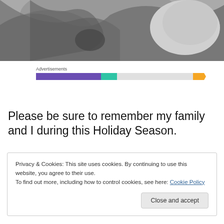[Figure (photo): Black and white close-up photograph of a person being embraced, showing hands and a baby or child's head.]
[Figure (infographic): Advertisements label with a horizontal segmented bar showing purple, teal, light gray, and orange segments.]
Please be sure to remember my family and I during this Holiday Season.
Privacy & Cookies: This site uses cookies. By continuing to use this website, you agree to their use.
To find out more, including how to control cookies, see here: Cookie Policy
Close and accept